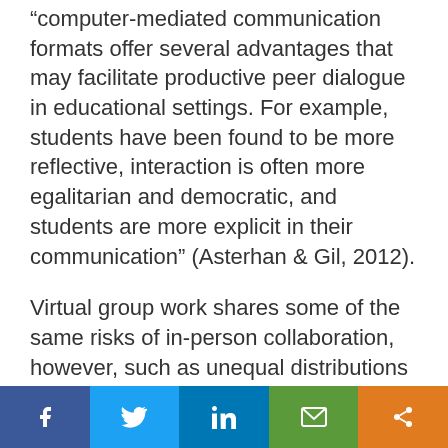“computer-mediated communication formats offer several advantages that may facilitate productive peer dialogue in educational settings. For example, students have been found to be more reflective, interaction is often more egalitarian and democratic, and students are more explicit in their communication” (Asterhan & Gil, 2012).
Virtual group work shares some of the same risks of in-person collaboration, however, such as unequal distributions of labor and interpersonal conflict. There are also additional challenges unique to remote learning environments. Here are